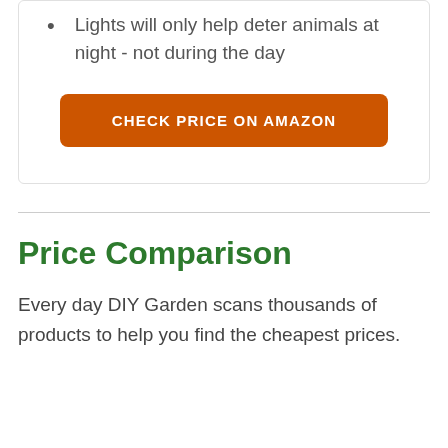Lights will only help deter animals at night - not during the day
CHECK PRICE ON AMAZON
Price Comparison
Every day DIY Garden scans thousands of products to help you find the cheapest prices.